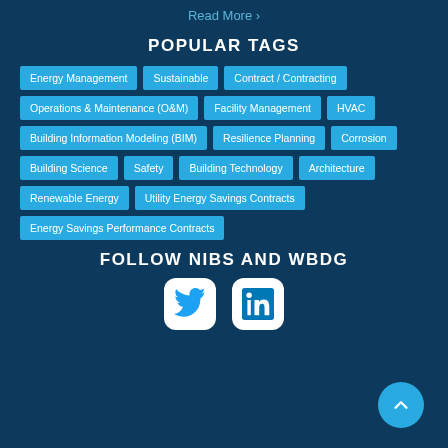Read More >
POPULAR TAGS
Energy Management
Sustainable
Contract / Contracting
Operations & Maintenance (O&M)
Facility Management
HVAC
Building Information Modeling (BIM)
Resilience Planning
Corrosion
Building Science
Safety
Building Technology
Architecture
Renewable Energy
Utility Energy Savings Contracts
Energy Savings Performance Contracts
FOLLOW NIBS AND WBDG
[Figure (illustration): Twitter and LinkedIn social media icons in white rounded square buttons, plus a cyan circular scroll-to-top button with an upward chevron]